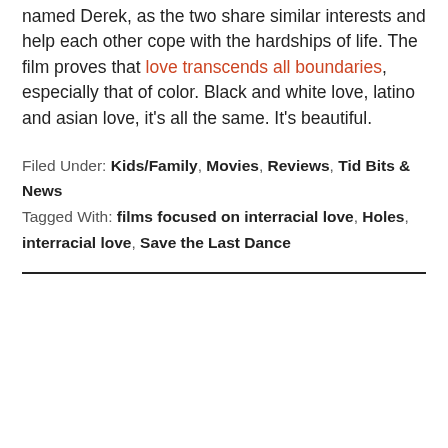named Derek, as the two share similar interests and help each other cope with the hardships of life. The film proves that love transcends all boundaries, especially that of color. Black and white love, latino and asian love, it's all the same. It's beautiful.
Filed Under: Kids/Family, Movies, Reviews, Tid Bits & News
Tagged With: films focused on interracial love, Holes, interracial love, Save the Last Dance